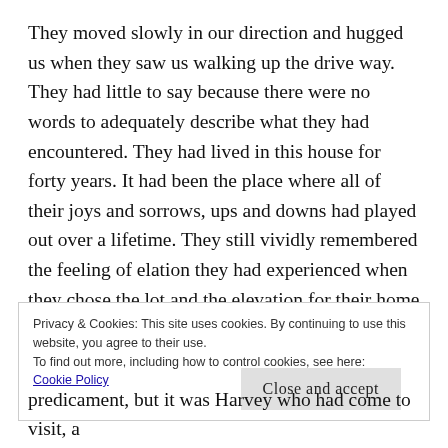They moved slowly in our direction and hugged us when they saw us walking up the drive way. They had little to say because there were no words to adequately describe what they had encountered. They had lived in this house for forty years. It had been the place where all of their joys and sorrows, ups and downs had played out over a lifetime. They still vividly remembered the feeling of elation they had experienced when they chose the lot and the elevation for their home and watched their dream becoming a reality. They had brought their baby girl to this home and lovingly witnessed her growing
Privacy & Cookies: This site uses cookies. By continuing to use this website, you agree to their use.
To find out more, including how to control cookies, see here:
Cookie Policy

Close and accept
predicament, but it was Harvey who had come to visit, a